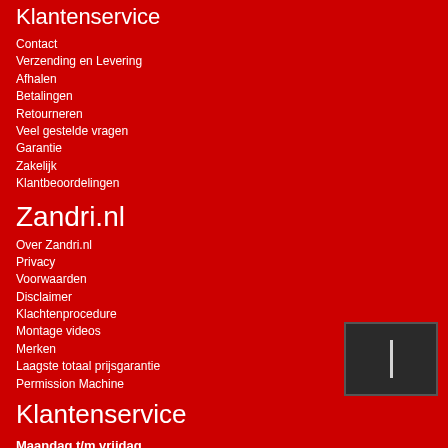Klantenservice
Contact
Verzending en Levering
Afhalen
Betalingen
Retourneren
Veel gestelde vragen
Garantie
Zakelijk
Klantbeoordelingen
Zandri.nl
Over Zandri.nl
Privacy
Voorwaarden
Disclaimer
Klachtenprocedure
Montage videos
Merken
Laagste totaal prijsgarantie
Permission Machine
Klantenservice
Maandag t/m vrijdag
9.00 - 17:00
ZANDRI - HOOFDKANTOOR
[Figure (other): Dark grey/black rectangular panel with a vertical white stripe element]